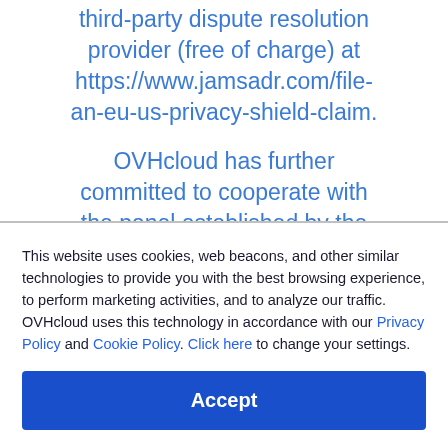third-party dispute resolution provider (free of charge) at https://www.jamsadr.com/file-an-eu-us-privacy-shield-claim.
OVHcloud has further committed to cooperate with the panel established by the EU data protection authorities (DPAs) and the Swiss Federal
This website uses cookies, web beacons, and other similar technologies to provide you with the best browsing experience, to perform marketing activities, and to analyze our traffic. OVHcloud uses this technology in accordance with our Privacy Policy and Cookie Policy. Click here to change your settings.
Accept